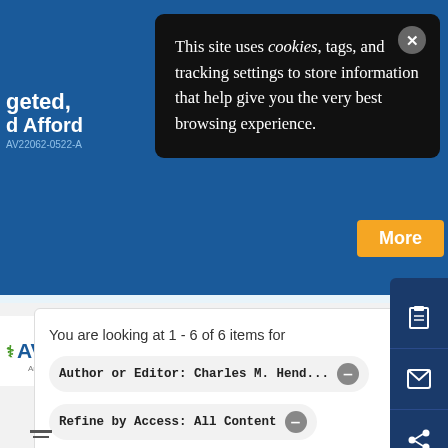[Figure (screenshot): Cookie consent popup overlay on a medical website (AVA). Black rounded rectangle popup with white serif text reading: 'This site uses cookies, tags, and tracking settings to store information that help give you the very best browsing experience.' with a close X button. Behind it: partial blue banner with text fragments 'geted,', 'Afford', 'AV22062-0522-A', 'reatmen', 'Practice', 'More' button, AVA logo, hamburger and user icons, sidebar action buttons, and a search results card with 'You are looking at 1 - 6 of 6 items for', filter tags 'Author or Editor: Charles M. Hend...' and 'Refine by Access: All Content'.]
This site uses cookies, tags, and tracking settings to store information that help give you the very best browsing experience.
You are looking at 1 - 6 of 6 items for
Author or Editor: Charles M. Hend...
Refine by Access: All Content